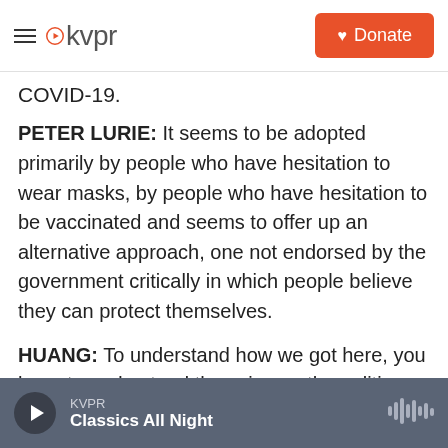kvpr | Donate
COVID-19.
PETER LURIE: It seems to be adopted primarily by people who have hesitation to wear masks, by people who have hesitation to be vaccinated and seems to offer up an alternative approach, one not endorsed by the government critically in which people believe they can protect themselves.
HUANG: To understand how we got here, you have to understand the science, the politics and where they diverged.
FADEL: OK, so let's start with the science. Is there
KVPR — Classics All Night